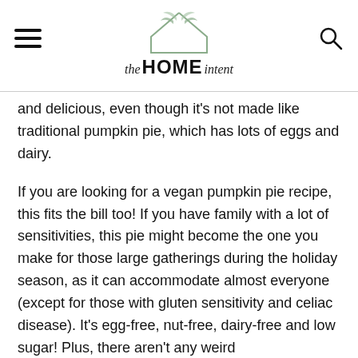the HOME intent
and delicious, even though it's not made like traditional pumpkin pie, which has lots of eggs and dairy.
If you are looking for a vegan pumpkin pie recipe, this fits the bill too! If you have family with a lot of sensitivities, this pie might become the one you make for those large gatherings during the holiday season, as it can accommodate almost everyone (except for those with gluten sensitivity and celiac disease). It's egg-free, nut-free, dairy-free and low sugar! Plus, there aren't any weird